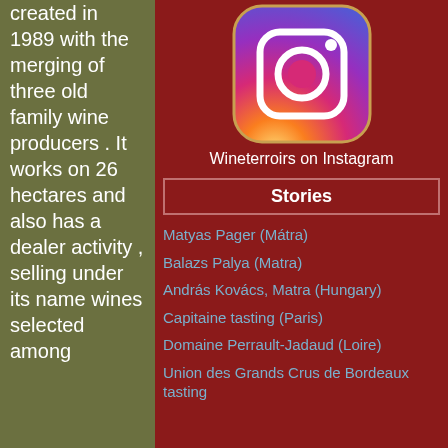created in 1989 with the merging of three old family wine producers . It works on 26 hectares and also has a dealer activity , selling under its name wines selected among
[Figure (logo): Instagram app logo]
Wineterroirs on Instagram
Stories
Matyas Pager (Mátra)
Balazs Palya (Matra)
András Kovács, Matra (Hungary)
Capitaine tasting (Paris)
Domaine Perrault-Jadaud (Loire)
Union des Grands Crus de Bordeaux tasting